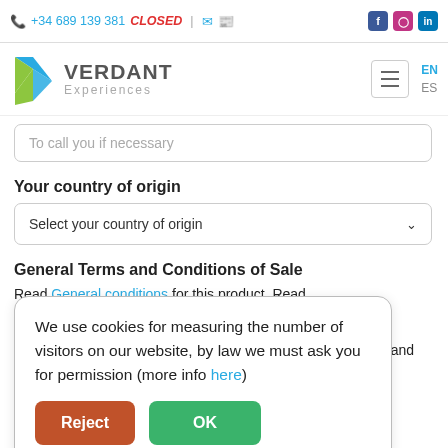+34 689 139 381 CLOSED | [whatsapp] [email] [facebook] [instagram] [linkedin]
[Figure (logo): Verdant Experiences logo — blue and green V shape with company name]
To call you if necessary
Your country of origin
Select your country of origin
General Terms and Conditions of Sale
Read General conditions for this product. Read
l Terms and and the
We use cookies for measuring the number of visitors on our website, by law we must ask you for permission (more info here)
I authorize to receive newsletters about